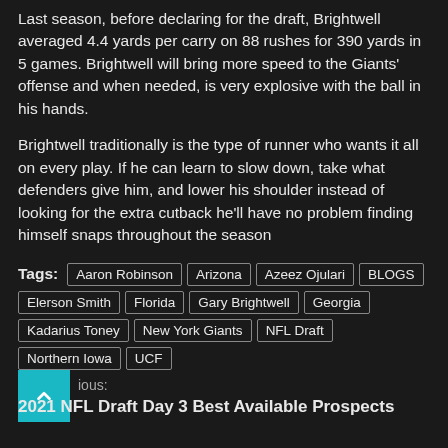Last season, before declaring for the draft, Brightwell averaged 4.4 yards per carry on 88 rushes for 390 yards in 5 games. Brightwell will bring more speed to the Giants' offense and when needed, is very explosive with the ball in his hands.
Brightwell traditionally is the type of runner who wants it all on every play. If he can learn to slow down, take what defenders give him, and lower his shoulder instead of looking for the extra cutback he'll have no problem finding himself snaps throughout the season
Tags: Aaron Robinson  Arizona  Azeez Ojulari  BLOGS  Elerson Smith  Florida  Gary Brightwell  Georgia  Kadarius Toney  New York Giants  NFL Draft  Northern Iowa  UCF
Previous:
2021 NFL Draft Day 3 Best Available Prospects